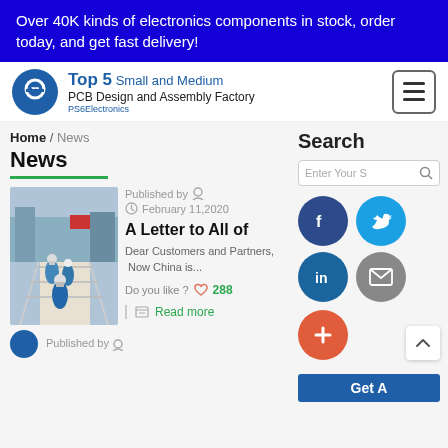Over 40K kinds of electronics components in stock, order today, and get fast delivery!
[Figure (logo): PS6Electronics logo - circular blue icon with stylized F/S shape, text: Top 5 Small and Medium PCB Design and Assembly Factory]
Home / News
News
[Figure (photo): People in blue protective suits walking across a bridge-like structure outdoors]
Published by
February 11,2020
A Letter to All of
Dear Customers and Partners,  Now China is...
Do you like ? 288
Read more
Published by
Search
Enter Your S